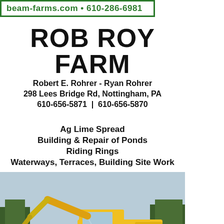beam-farms.com • 610-286-6981
ROB ROY FARM
Robert E. Rohrer  -  Ryan Rohrer
298 Lees Bridge Rd, Nottingham, PA
610-656-5871  |  610-656-5870
Ag Lime Spread
Building & Repair of Ponds
Riding Rings
Waterways, Terraces, Building Site Work
[Figure (photo): Yellow Caterpillar excavator on a dirt construction site with trees in background]
Serving Northern Cecil County, Chester County, and Southern Lancaster County